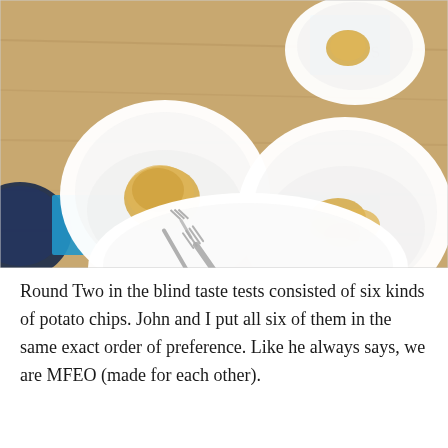[Figure (photo): Overhead view of white bowls on a wooden table, each containing a few potato chips, with blue paper cards beneath the bowls. A white plate with a fork rests in the lower portion of the image. A dark bowl is partially visible at the lower left.]
Round Two in the blind taste tests consisted of six kinds of potato chips. John and I put all six of them in the same exact order of preference. Like he always says, we are MFEO (made for each other).